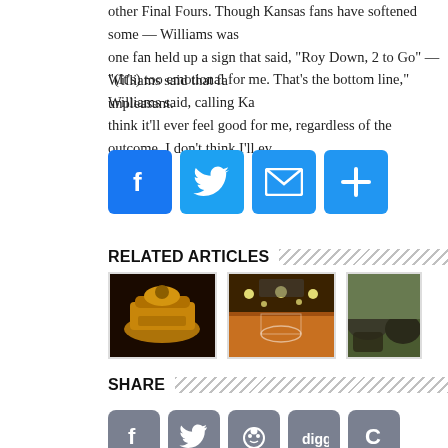other Final Fours. Though Kansas fans have softened some — Williams was one fan held up a sign that said, "Roy Down, 2 to Go" — Williams said that fa unpleasant.
"(It's) too emotional for me. That's the bottom line," Williams said, calling Ka think it'll ever feel good for me, regardless of the outcome. I don't think I'll ev
[Figure (infographic): Social share buttons: Facebook (blue f), Twitter (blue bird), Email (blue envelope), Plus/More (blue plus sign)]
RELATED ARTICLES
[Figure (photo): Gold championship rings/crown on dark fabric background]
[Figure (photo): Basketball court interior with gymnasium ceiling lights]
[Figure (photo): Rocky outdoor landscape with moss or vegetation]
SHARE
[Figure (infographic): Share buttons row: Facebook (gray), Twitter (gray), Reddit (gray), Digg (gray), another gray button]